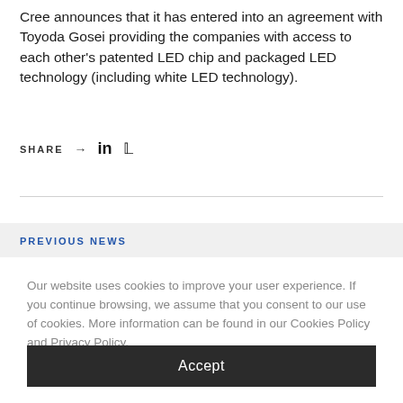Cree announces that it has entered into an agreement with Toyoda Gosei providing the companies with access to each other's patented LED chip and packaged LED technology (including white LED technology).
SHARE → in 🐦
PREVIOUS NEWS
Our website uses cookies to improve your user experience. If you continue browsing, we assume that you consent to our use of cookies. More information can be found in our Cookies Policy and Privacy Policy.
Accept